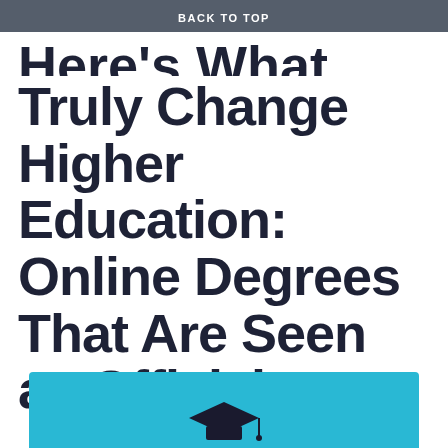BACK TO TOP
Here's What Will Truly Change Higher Education: Online Degrees That Are Seen as Official
[Figure (photo): Partial view of a graduation cap on a cyan/teal background, appearing at the bottom of the page as a preview image for the article.]